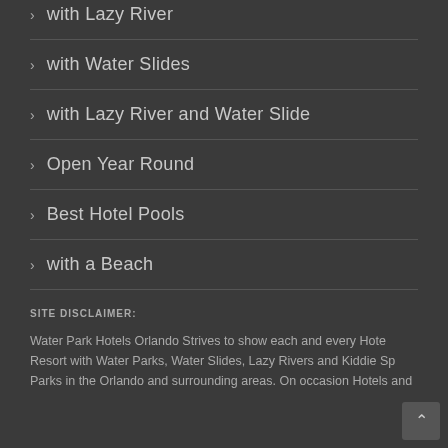with Lazy River
with Water Slides
with Lazy River and Water Slide
Open Year Round
Best Hotel Pools
with a Beach
SITE DISCLAIMER:
Water Park Hotels Orlando Strives to show each and every Hotel Resort with Water Parks, Water Slides, Lazy Rivers and Kiddie Splash Parks in the Orlando and surrounding areas. On occasion Hotels and